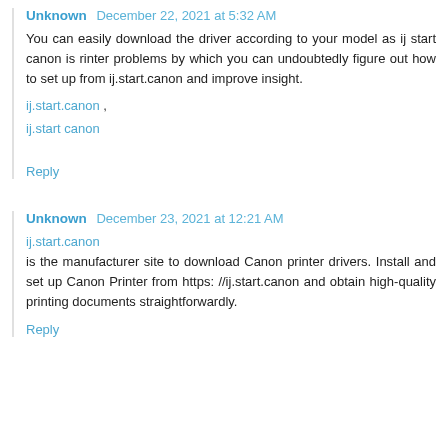Unknown  December 22, 2021 at 5:32 AM
You can easily download the driver according to your model as ij start canon is rinter problems by which you can undoubtedly figure out how to set up from ij.start.canon and improve insight.
ij.start.canon , ij.start canon
Reply
Unknown  December 23, 2021 at 12:21 AM
ij.start.canon is the manufacturer site to download Canon printer drivers. Install and set up Canon Printer from https: //ij.start.canon and obtain high-quality printing documents straightforwardly.
Reply